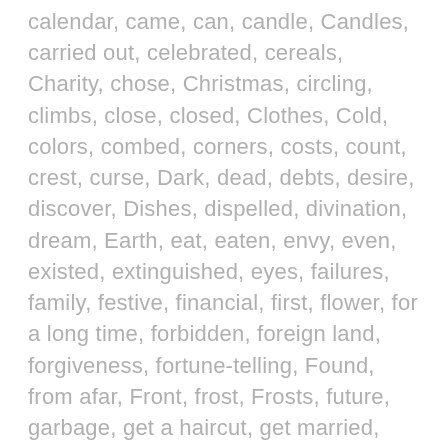calendar, came, can, candle, Candles, carried out, celebrated, cereals, Charity, chose, Christmas, circling, climbs, close, closed, Clothes, Cold, colors, combed, corners, costs, count, crest, curse, Dark, dead, debts, desire, discover, Dishes, dispelled, divination, dream, Earth, eat, eaten, envy, even, existed, extinguished, eyes, failures, family, festive, financial, first, flower, for a long time, forbidden, foreign land, forgiveness, fortune-telling, Found, from afar, Front, frost, Frosts, future, garbage, get a haircut, get married, give away, good, Good luck, grains, gratitude, Green, grew up, guess, hair, happened,